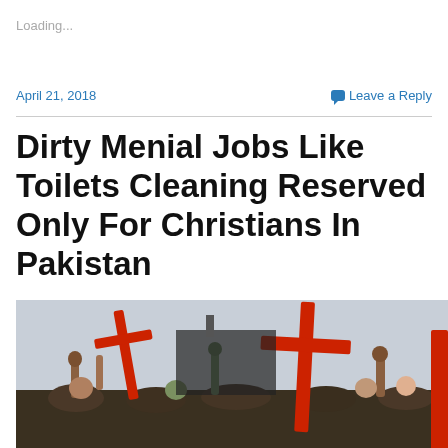Loading...
April 21, 2018
Leave a Reply
Dirty Menial Jobs Like Toilets Cleaning Reserved Only For Christians In Pakistan
[Figure (photo): Protest scene showing people holding large red Christian crosses aloft in a crowd, some with raised fists, outdoors with a pale sky background.]